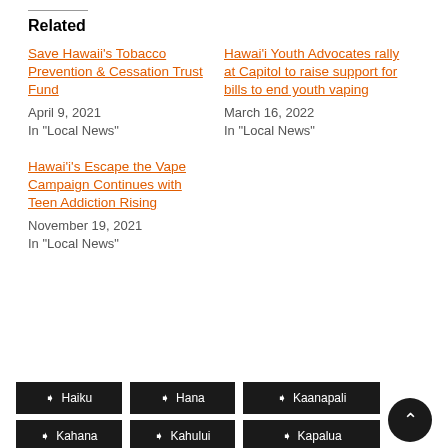Related
Save Hawaii's Tobacco Prevention & Cessation Trust Fund
April 9, 2021
In "Local News"
Hawai'i Youth Advocates rally at Capitol to raise support for bills to end youth vaping
March 16, 2022
In "Local News"
Hawai'i's Escape the Vape Campaign Continues with Teen Addiction Rising
November 19, 2021
In "Local News"
Haiku
Hana
Kaanapali
Kahana
Kahului
Kapalua